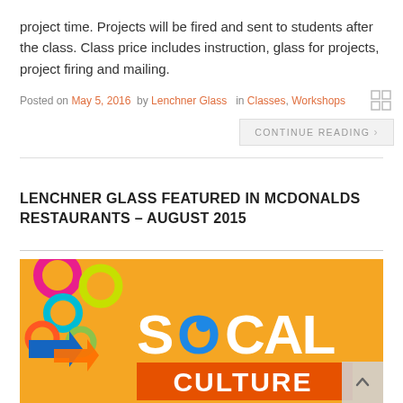project time. Projects will be fired and sent to students after the class. Class price includes instruction, glass for projects, project firing and mailing.
Posted on May 5, 2016  by Lenchner Glass   in Classes, Workshops
CONTINUE READING >
LENCHNER GLASS FEATURED IN MCDONALDS RESTAURANTS – AUGUST 2015
[Figure (illustration): SoCal Culture promotional banner image with colorful geometric shapes on orange background. Text reads 'SOCAL' in white and blue letters and 'CULTURE' in white on an orange rectangle.]